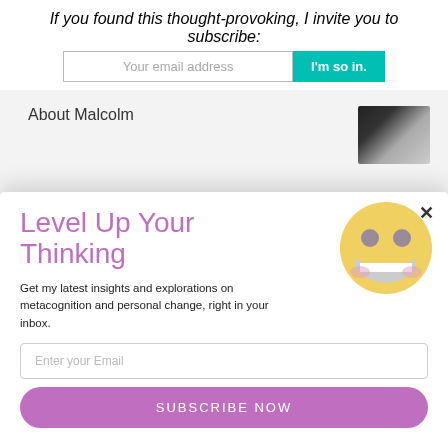If you found this thought-provoking, I invite you to subscribe:
[Figure (screenshot): Email subscription input box with placeholder 'Your email address' and a teal button labeled 'I'm so in.']
About Malcolm
[Figure (photo): Partial photo of a person with dark hair]
Level Up Your Thinking
[Figure (illustration): Smiling emoji face with yellow color, grey eyes and wide grin]
Get my latest insights and explorations on metacognition and personal change, right in your inbox.
[Figure (screenshot): Email input field with placeholder 'Enter your Email' and a purple 'SUBSCRIBE NOW' button below]